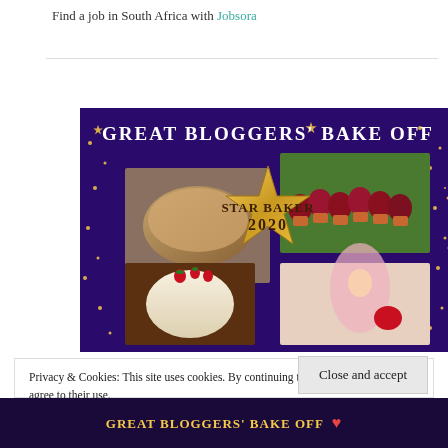Find a job in South Africa with Jobsora
[Figure (illustration): Great Bloggers' Bake Off Star Baker 2020 promotional image with purple starry background and food photos]
Privacy & Cookies: This site uses cookies. By continuing to use this website, you agree to their use.
To find out more, including how to control cookies, see here: Cookie Policy
Close and accept
GREAT BLOGGERS' BAKE OFF